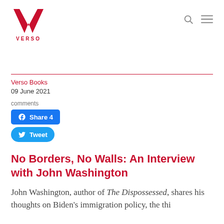VERSO
Verso Books
09 June 2021
comments
Share 4
Tweet
No Borders, No Walls: An Interview with John Washington
John Washington, author of The Dispossessed, shares his thoughts on Biden's immigration policy, the thin...